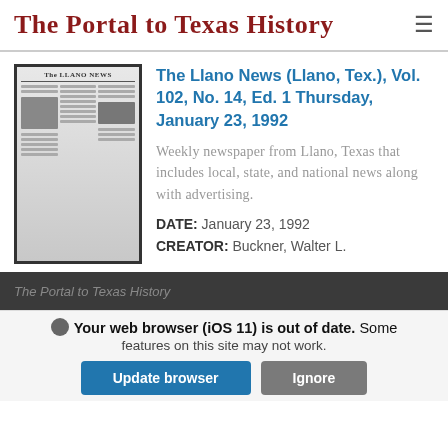The Portal to Texas History
[Figure (photo): Thumbnail image of the front page of The Llano News newspaper, black and white, showing masthead and news columns with a photograph of a person]
The Llano News (Llano, Tex.), Vol. 102, No. 14, Ed. 1 Thursday, January 23, 1992
Weekly newspaper from Llano, Texas that includes local, state, and national news along with advertising.
DATE: January 23, 1992
CREATOR: Buckner, Walter L.
The Portal to Texas History
Your web browser (iOS 11) is out of date. Some features on this site may not work.